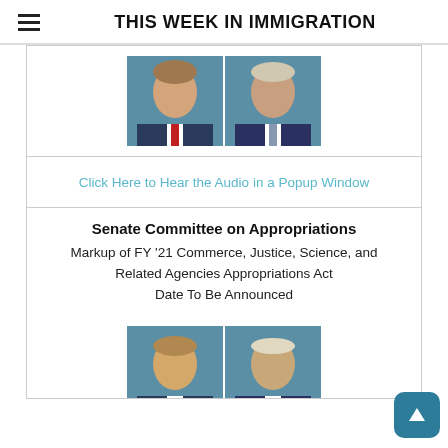THIS WEEK IN IMMIGRATION
[Figure (photo): Two official portrait photos of men in suits against blue background (top section)]
Click Here to Hear the Audio in a Popup Window
Senate Committee on Appropriations
Markup of FY '21 Commerce, Justice, Science, and Related Agencies Appropriations Act
Date To Be Announced
[Figure (photo): Two official portrait photos of men in suits against blue background (bottom section, partially visible)]